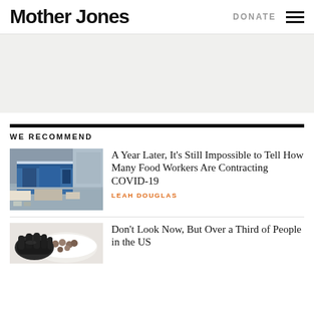Mother Jones
DONATE
[Figure (other): Ad banner placeholder, light gray background]
WE RECOMMEND
[Figure (photo): Aerial view of food processing facility with blue industrial structures and trucks in parking lot]
A Year Later, It’s Still Impossible to Tell How Many Food Workers Are Contracting COVID-19
LEAH DOUGLAS
[Figure (photo): Person wearing black gloves handling food items]
Don’t Look Now, But Over a Third of People in the US